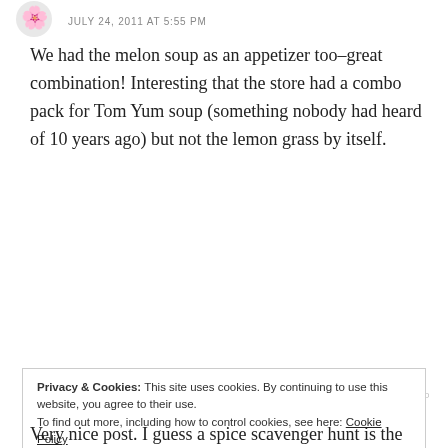JULY 24, 2011 AT 5:55 PM
We had the melon soup as an appetizer too–great combination! Interesting that the store had a combo pack for Tom Yum soup (something nobody had heard of 10 years ago) but not the lemon grass by itself.
Reply
[Figure (screenshot): Green advertisement banner with circular logo on left and 'Backup up your site' text link on right]
Privacy & Cookies: This site uses cookies. By continuing to use this website, you agree to their use.
To find out more, including how to control cookies, see here: Cookie Policy
Close and accept
Very nice post. I guess a spice scavenger hunt is the